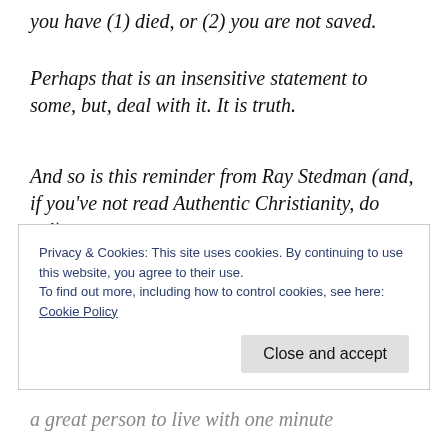you have (1) died, or (2) you are not saved.
Perhaps that is an insensitive statement to some, but, deal with it. It is truth.
And so is this reminder from Ray Stedman (and, if you've not read Authentic Christianity, do so!):
“Since we can live only in one area of
Privacy & Cookies: This site uses cookies. By continuing to use this website, you agree to their use.
To find out more, including how to control cookies, see here:
Cookie Policy
Close and accept
a great person to live with one minute